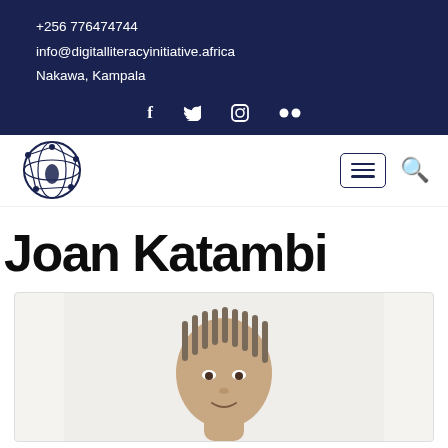+256 776474744
info@digitalliteracyinitiative.africa
Nakawa, Kampala
[Figure (logo): Digital Literacy Initiative Africa globe logo]
Joan Katambi
[Figure (photo): Portrait photo of Joan Katambi, a woman with braided hair, cropped at shoulders, light background]